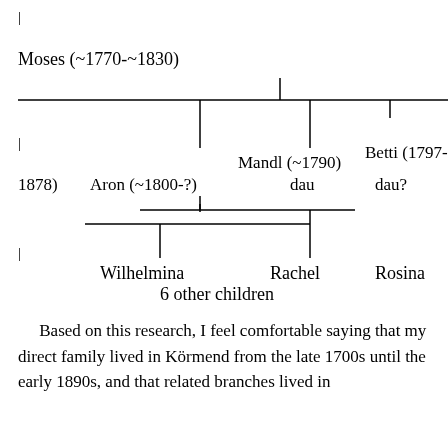[Figure (organizational-chart): Family tree diagram showing descendants of Moses (~1770-~1830), including children Mandl (~1790) dau, Betti (1797-1878) dau?, Aron (~1800-?), and grandchildren Wilhelmina, Rachel, Rosina, and 6 other children.]
Based on this research, I feel comfortable saying that my direct family lived in Körmend from the late 1700s until the early 1890s, and that related branches lived in